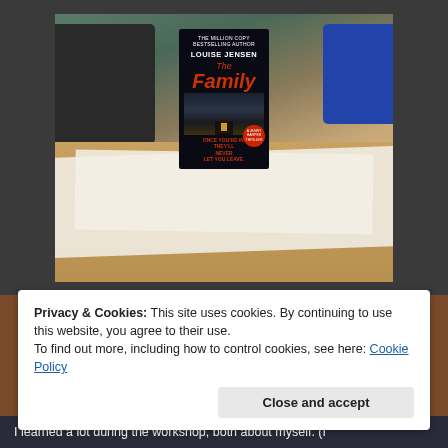[Figure (photo): A photo of the book 'The Family' by Louise Jensen sitting upright on a wooden table in a meeting room, with papers and chairs visible in the background.]
Privacy & Cookies: This site uses cookies. By continuing to use this website, you agree to their use.
To find out more, including how to control cookies, see here: Cookie Policy
Close and accept
I learned a lot during the workshop, both about myself. (I